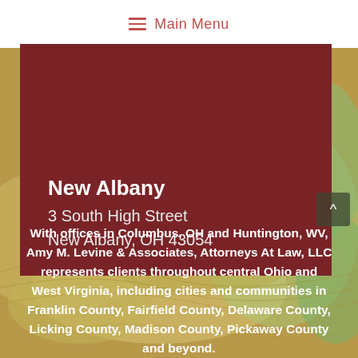Main Menu
New Albany
3 South High Street
New Albany, OH 43054
With offices in Columbus, OH and Huntington, WV, Amy M. Levine & Associates, Attorneys At Law, LLC represents clients throughout central Ohio and West Virginia, including cities and communities in Franklin County, Fairfield County, Delaware County, Licking County, Madison County, Pickaway County and beyond.